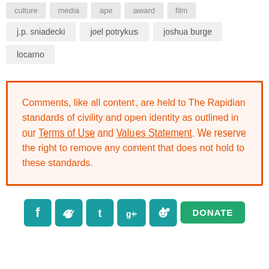culture  media  ape  award  film
j.p. sniadecki  joel potrykus  joshua burge
locarno
Comments, like all content, are held to The Rapidian standards of civility and open identity as outlined in our Terms of Use and Values Statement. We reserve the right to remove any content that does not hold to these standards.
[Figure (other): Social media icons: Facebook, Twitter, Tumblr, Google+, Reddit, and a green DONATE button]